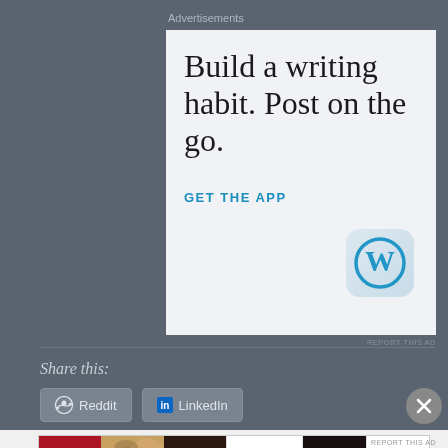Advertisements
[Figure (illustration): WordPress app advertisement with text 'Build a writing habit. Post on the go.' and 'GET THE APP' call to action with WordPress logo icon]
REPORT THIS AD
Share this:
[Figure (other): Reddit share button]
[Figure (other): LinkedIn share button]
[Figure (photo): ULTA beauty advertisement banner with makeup/beauty imagery and 'SHOP NOW' text]
REPORT THIS AD